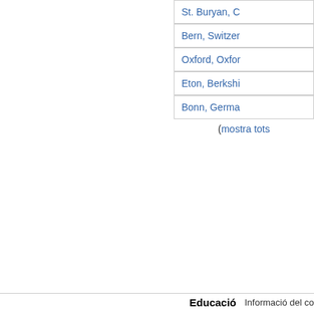St. Buryan, C
Bern, Switzer
Oxford, Oxfor
Eton, Berkshi
Bonn, Germa
(mostra tots
Educació Informació del co
Aquest lloc utilitza galetes per a oferir els nostres serveis, millorar el
Hi estic d'acord
desenvolupament, per a anàlisis i (si no has iniciat la sessió) per a publicitat. Utilitzant LibraryThing acceptes que has llegit i entès els nostres Termes de servei i política de privacitat. L'ús que facis del lloc i dels seus serveis està subjecte a aquestes polítiques i termes.